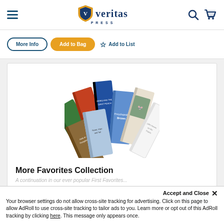veritas PRESS
More Info | Add to Bag | Add to List
[Figure (photo): Fan of children's books including titles like Encyclopedia Brown, Mouse Soup, Owls at Pumpkins, and other readers spread out in a fan arrangement]
More Favorites Collection
A continuation in our ever popular First Favorites...
Your browser settings do not allow cross-site tracking for advertising. Click on this page to allow AdRoll to use cross-site tracking to tailor ads to you. Learn more or opt out of this AdRoll tracking by clicking here. This message only appears once.